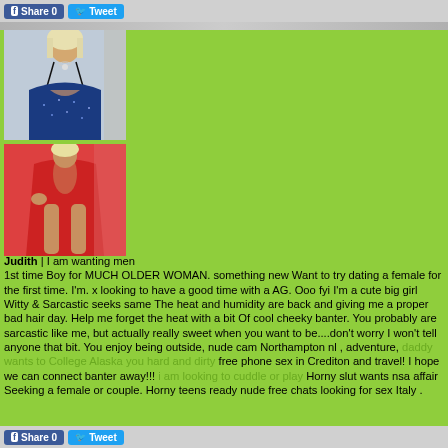Share 0  Tweet
[Figure (photo): Two photos of a woman: top photo shows woman in blue sparkly top, bottom photo shows woman in red dress]
Judith | I am wanting men
1st time Boy for MUCH OLDER WOMAN. something new Want to try dating a female for the first time. I'm. x looking to have a good time with a AG. Ooo fyi I'm a cute big girl Witty & Sarcastic seeks same The heat and humidity are back and giving me a proper bad hair day. Help me forget the heat with a bit Of cool cheeky banter. You probably are sarcastic like me, but actually really sweet when you want to be....don't worry I won't tell anyone that bit. You enjoy being outside, nude cam Northampton nl , adventure, daddy wants to College Alaska you hard and dirty free phone sex in Crediton and travel! I hope we can connect banter away!!! i am looking to cuddle or play Horny slut wants nsa affair
Seeking a female or couple. Horny teens ready nude free chats looking for sex Italy .
Tweet